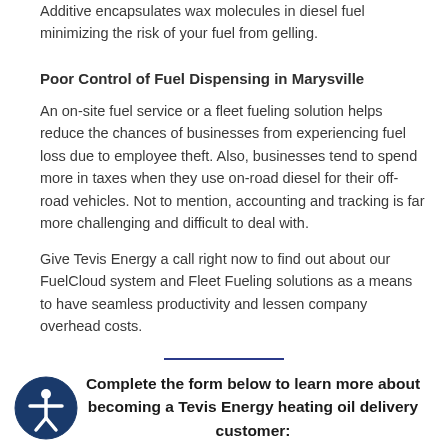Additive encapsulates wax molecules in diesel fuel minimizing the risk of your fuel from gelling.
Poor Control of Fuel Dispensing in Marysville
An on-site fuel service or a fleet fueling solution helps reduce the chances of businesses from experiencing fuel loss due to employee theft. Also, businesses tend to spend more in taxes when they use on-road diesel for their off-road vehicles. Not to mention, accounting and tracking is far more challenging and difficult to deal with.
Give Tevis Energy a call right now to find out about our FuelCloud system and Fleet Fueling solutions as a means to have seamless productivity and lessen company overhead costs.
Complete the form below to learn more about becoming a Tevis Energy heating oil delivery customer: